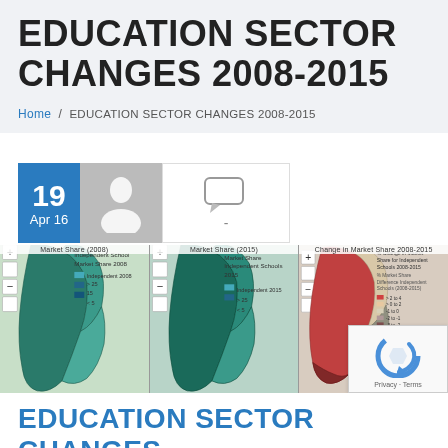EDUCATION SECTOR CHANGES 2008-2015
Home / EDUCATION SECTOR CHANGES 2008-2015
[Figure (map): Three side-by-side choropleth maps showing Market Share (2008), Market Share (2015), and Change in Market Share 2008-2015 for Independent Schools, with legends and map controls.]
EDUCATION SECTOR CHANGES